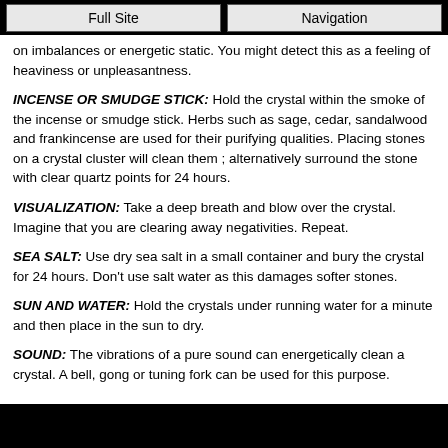Full Site | Navigation
on imbalances or energetic static. You might detect this as a feeling of heaviness or unpleasantness.
INCENSE OR SMUDGE STICK: Hold the crystal within the smoke of the incense or smudge stick. Herbs such as sage, cedar, sandalwood and frankincense are used for their purifying qualities. Placing stones on a crystal cluster will clean them ; alternatively surround the stone with clear quartz points for 24 hours.
VISUALIZATION: Take a deep breath and blow over the crystal. Imagine that you are clearing away negativities. Repeat.
SEA SALT: Use dry sea salt in a small container and bury the crystal for 24 hours. Don't use salt water as this damages softer stones.
SUN AND WATER: Hold the crystals under running water for a minute and then place in the sun to dry.
SOUND: The vibrations of a pure sound can energetically clean a crystal. A bell, gong or tuning fork can be used for this purpose.